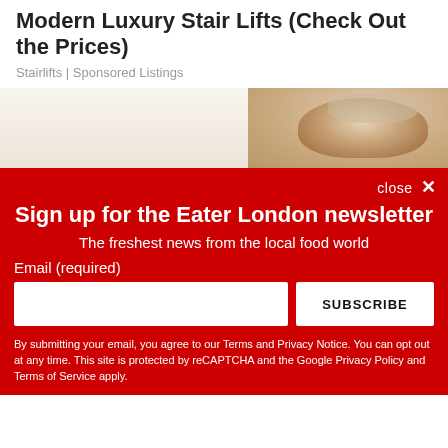Modern Luxury Stair Lifts (Check Out the Prices)
Stairlifts | Sponsored Listings
[Figure (photo): Partial photo of a person's face wearing a hair net, visible at the top portion]
close ✕
Sign up for the Eater London newsletter
The freshest news from the local food world
Email (required)
SUBSCRIBE
By submitting your email, you agree to our Terms and Privacy Notice. You can opt out at any time. This site is protected by reCAPTCHA and the Google Privacy Policy and Terms of Service apply.